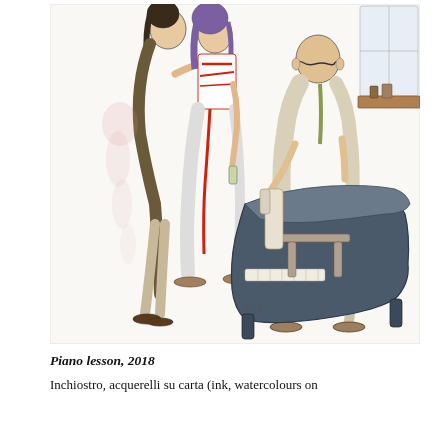[Figure (illustration): A watercolour and ink illustration showing a piano lesson scene. On the left, two women are embracing or dancing; one has dark hair and wears a long outfit, the other has purple hair and wears a red-and-white dress holding something in her hand. On the right, a bald man wearing glasses sits at a grand piano. The piano is rendered in dark grey-blue ink. The scene is sketched with loose ink lines and light watercolour washes. A signature 'SD 18' is visible at the bottom centre.]
Piano lesson, 2018
Inchiostro, acquerelli su carta (ink, watercolours on